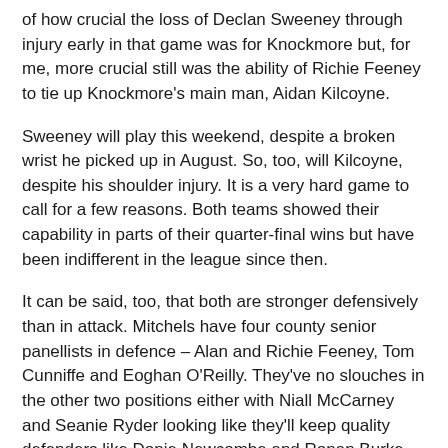of how crucial the loss of Declan Sweeney through injury early in that game was for Knockmore but, for me, more crucial still was the ability of Richie Feeney to tie up Knockmore's main man, Aidan Kilcoyne.
Sweeney will play this weekend, despite a broken wrist he picked up in August. So, too, will Kilcoyne, despite his shoulder injury. It is a very hard game to call for a few reasons. Both teams showed their capability in parts of their quarter-final wins but have been indifferent in the league since then.
It can be said, too, that both are stronger defensively than in attack. Mitchels have four county senior panellists in defence – Alan and Richie Feeney, Tom Cunniffe and Eoghan O'Reilly. They've no slouches in the other two positions either with Niall McCarney and Seanie Ryder looking like they'll keep quality defenders like Donie Newcombe and Ronan Burke off the team. Ryder has, in fact, been Mitchels' best player all year after a return from a lengthy time off with a variety of injury troubles.